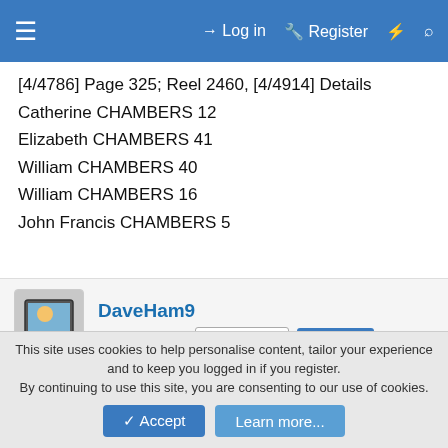Log in | Register
[4/4786] Page 325; Reel 2460, [4/4914] Details
Catherine CHAMBERS 12
Elizabeth CHAMBERS 41
William CHAMBERS 40
William CHAMBERS 16
John Francis CHAMBERS 5
DaveHam9 | Loyal Member | Staff member | Moderator
22 March 2021 | #10
William and Elizabeth Chambers in 1841 thanks. The children are with grandparents.
This site uses cookies to help personalise content, tailor your experience and to keep you logged in if you register.
By continuing to use this site, you are consenting to our use of cookies.